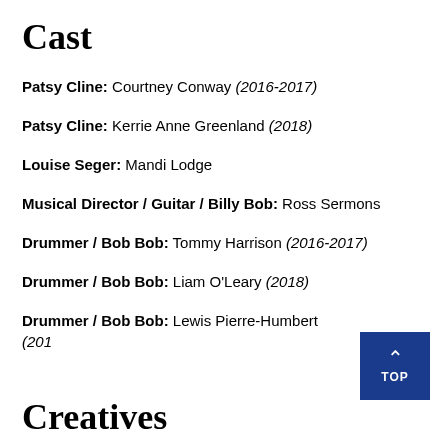Cast
Patsy Cline: Courtney Conway (2016-2017)
Patsy Cline: Kerrie Anne Greenland (2018)
Louise Seger: Mandi Lodge
Musical Director / Guitar / Billy Bob: Ross Sermons
Drummer / Bob Bob: Tommy Harrison (2016-2017)
Drummer / Bob Bob: Liam O'Leary (2018)
Drummer / Bob Bob: Lewis Pierre-Humbert (201...
Creatives